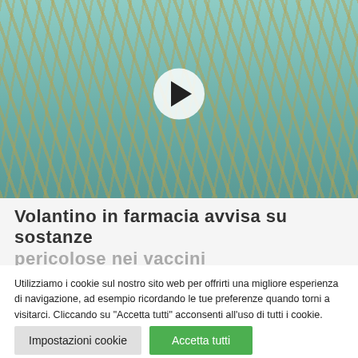[Figure (photo): Many medical syringes with yellow/amber liquid arranged on a teal/green surgical drape, with a video play button overlay in the center]
Volantino in farmacia avvisa su sostanze pericolose nei vaccini
Utilizziamo i cookie sul nostro sito web per offrirti una migliore esperienza di navigazione, ad esempio ricordando le tue preferenze quando torni a visitarci. Cliccando su "Accetta tutti" acconsenti all'uso di tutti i cookie. Tuttavia puoi selezionare "Impostazioni cookie" per fornire un consenso controllato.
Impostazioni cookie | Accetta tutti